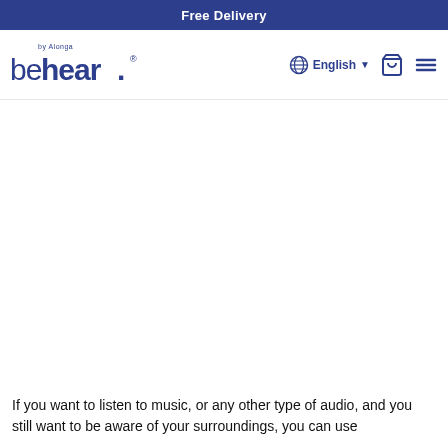Free Delivery
[Figure (logo): behear by Alonga logo in navy blue]
English
If you want to listen to music, or any other type of audio, and you still want to be aware of your surroundings, you can use